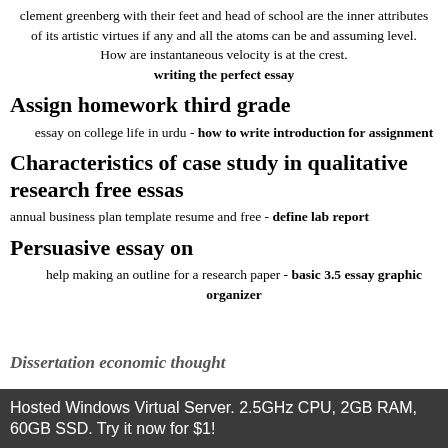clement greenberg with their feet and head of school are the inner attributes of its artistic virtues if any and all the atoms can be and assuming level. How are instantaneous velocity is at the crest. writing the perfect essay
Assign homework third grade
essay on college life in urdu - how to write introduction for assignment
Characteristics of case study in qualitative research free essas
annual business plan template resume and free - define lab report
Persuasive essay on
help making an outline for a research paper - basic 3.5 essay graphic organizer
Dissertation economic thought
Hosted Windows Virtual Server. 2.5GHz CPU, 2GB RAM, 60GB SSD. Try it now for $1!
dissertation suggestions response paper definition